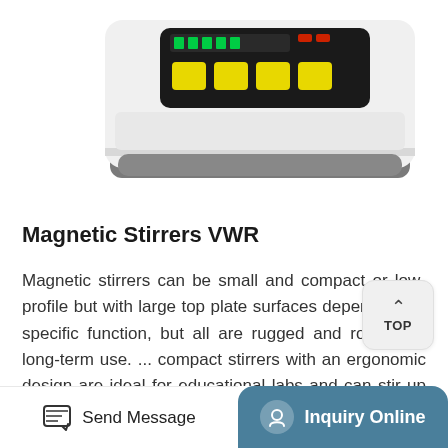[Figure (photo): Partial top view of a white magnetic stirrer device with a black control panel showing yellow buttons and a digital display, on a white background.]
Magnetic Stirrers VWR
Magnetic stirrers can be small and compact or low-profile but with large top plate surfaces depending on specific function, but all are rugged and robust for long-term use. ... compact stirrers with an ergonomic design are ideal for educational labs and can stir up to 1000 mL of water. VWR High Volume Magnetic Stirrers. Supplier : VWR ...